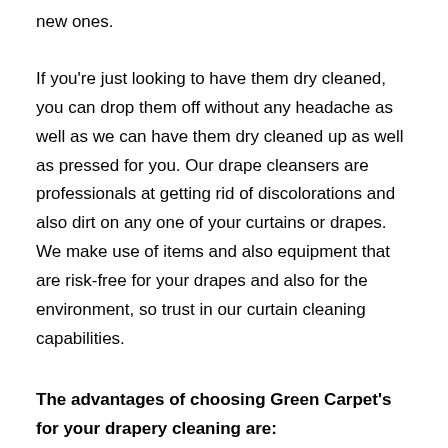new ones.
If you're just looking to have them dry cleaned, you can drop them off without any headache as well as we can have them dry cleaned up as well as pressed for you. Our drape cleansers are professionals at getting rid of discolorations and also dirt on any one of your curtains or drapes. We make use of items and also equipment that are risk-free for your drapes and also for the environment, so trust in our curtain cleaning capabilities.
The advantages of choosing Green Carpet's for your drapery cleaning are: